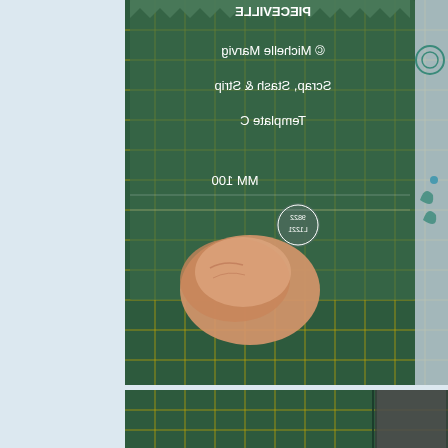[Figure (photo): A photo of a clear acrylic quilting ruler/template placed on a green self-healing cutting mat with yellow grid lines. The ruler shows text mirrored/reversed reading: PIECEVILLE at top, © Michelle Marvig, Scrap, Stash & Strip, Template C, MM 100, and a small logo. A person's finger is pressing on the ruler. On the right edge, fabric with a blue pattern is visible.]
[Figure (photo): A partial photo at the bottom showing a green cutting mat with yellow grid lines and what appears to be a blade or cutting tool on the right side.]